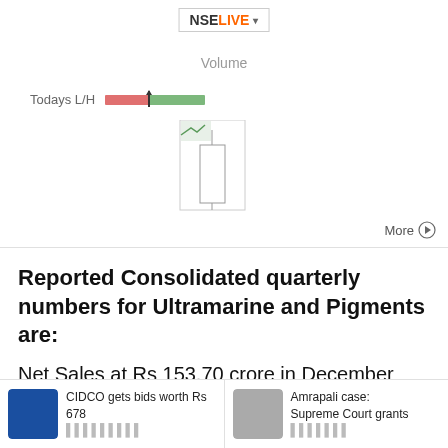[Figure (other): NSELive stock chart widget showing Volume and Todays L/H bar with a candlestick/volume chart area and a More button]
Reported Consolidated quarterly numbers for Ultramarine and Pigments are:
Net Sales at Rs 153.70 crore in December 2021 up 83.02% from Rs. 83.98 crore in December 2020.
CIDCO gets bids worth Rs 678 [...]
Amrapali case: Supreme Court grants [...]